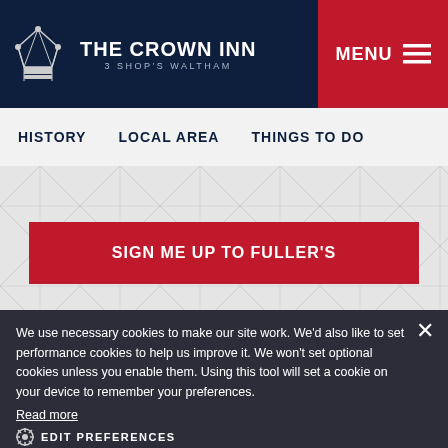THE CROWN INN | 3 SHOP'S WALTHAM
MENU
HISTORY  LOCAL AREA  THINGS TO DO
SIGN ME UP TO FULLER'S
We use necessary cookies to make our site work. We'd also like to set performance cookies to help us improve it. We won't set optional cookies unless you enable them. Using this tool will set a cookie on your device to remember your preferences.
Read more
EDIT PREFERENCES
ACCEPT ALL
DECLINE ALL